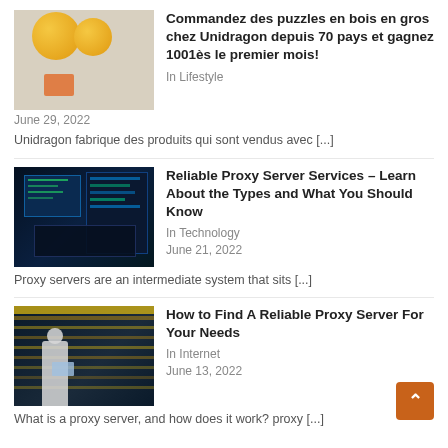[Figure (photo): Thumbnail image of colorful wooden puzzle pieces including circles and rectangles on a light background]
Commandez des puzzles en bois en gros chez Unidragon depuis 70 pays et gagnez 1001ès le premier mois!
In Lifestyle
June 29, 2022
Unidragon fabrique des produits qui sont vendus avec [...]
[Figure (photo): Dark image of computer server screens and technology equipment with green and blue lighting]
Reliable Proxy Server Services – Learn About the Types and What You Should Know
In Technology
June 21, 2022
Proxy servers are an intermediate system that sits [...]
[Figure (photo): Image of a person in white coat examining a tablet in a data center with server racks and yellow lighting]
How to Find A Reliable Proxy Server For Your Needs
In Internet
June 13, 2022
What is a proxy server, and how does it work? proxy [...]